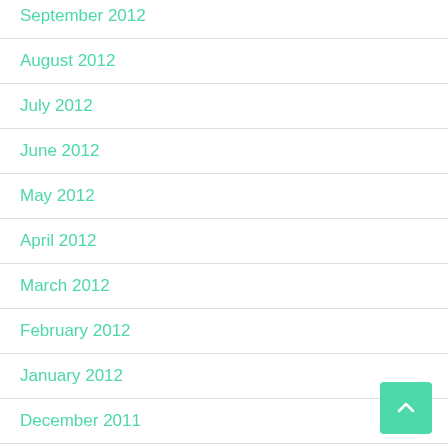September 2012
August 2012
July 2012
June 2012
May 2012
April 2012
March 2012
February 2012
January 2012
December 2011
November 2011
October 2011
September 2011